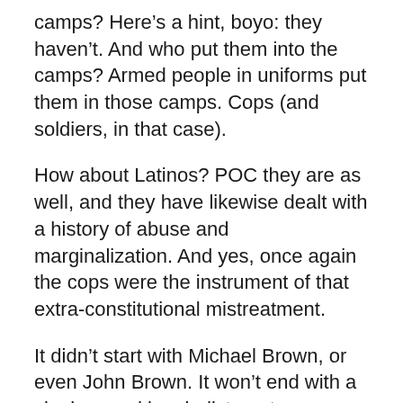camps? Here's a hint, boyo: they haven't. And who put them into the camps? Armed people in uniforms put them in those camps. Cops (and soldiers, in that case).
How about Latinos? POC they are as well, and they have likewise dealt with a history of abuse and marginalization. And yes, once again the cops were the instrument of that extra-constitutional mistreatment.
It didn't start with Michael Brown, or even John Brown. It won't end with a single grand jury indictment, or even several indictments. As the Prexy has said, the system can't function if POC don't trust that justice will be delivered in an impartial manner.
Speaking as a (formerly long-haired) hippie freak, this writer doesn't place blind trust in the cops or those for whom they work. Some of my history has shown me why.